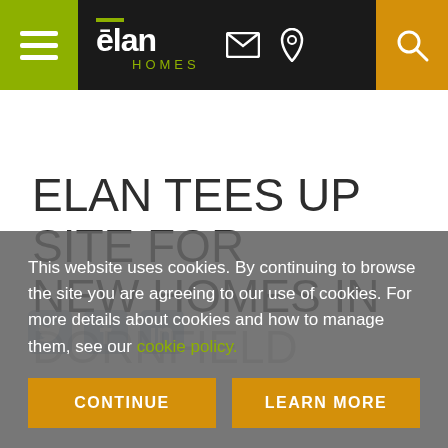[Figure (screenshot): Elan Homes website navigation bar with hamburger menu on olive/lime green background, Elan Homes logo in white and green on black background, email and phone icons, and orange search button]
ELAN TEES UP SITE FOR NEW HOMES IN DORNFIELD
This website uses cookies. By continuing to browse the site you are agreeing to our use of cookies. For more details about cookies and how to manage them, see our cookie policy.